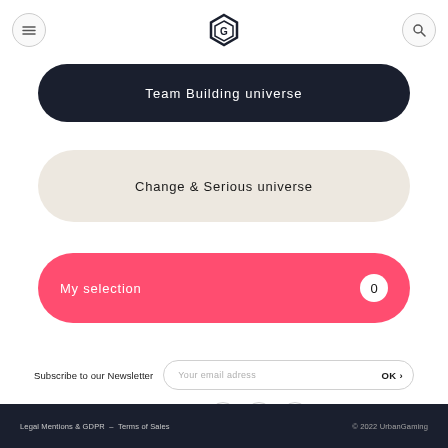UrbanGaming logo, menu button, and search button
Team Building universe
Change & Serious universe
My selection  0
Subscribe to our Newsletter   Your email adress   OK >
Follow us on
Legal Mentions & GDPR  –  Terms of Sales    © 2022 UrbanGaming